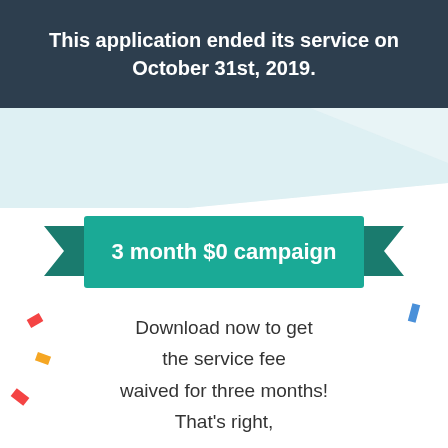This application ended its service on October 31st, 2019.
[Figure (illustration): Teal/light blue diagonal background decorative element]
[Figure (illustration): Teal ribbon banner with text: 3 month $0 campaign]
Download now to get the service fee waived for three months! That's right,